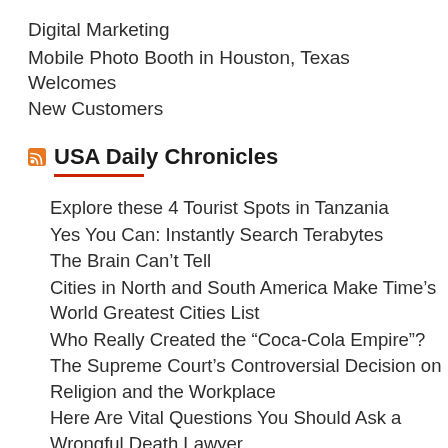Digital Marketing
Mobile Photo Booth in Houston, Texas Welcomes New Customers
USA Daily Chronicles
Explore these 4 Tourist Spots in Tanzania
Yes You Can: Instantly Search Terabytes
The Brain Can’t Tell
Cities in North and South America Make Time’s World Greatest Cities List
Who Really Created the “Coca-Cola Empire”?
The Supreme Court’s Controversial Decision on Religion and the Workplace
Here Are Vital Questions You Should Ask a Wrongful Death Lawyer